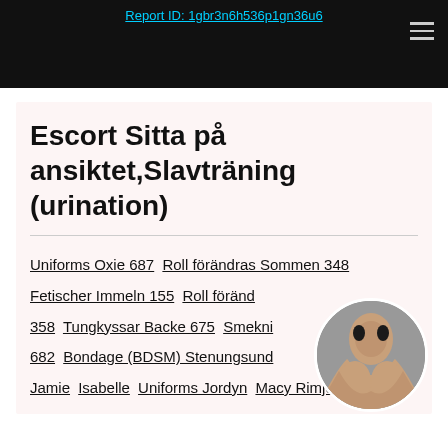Report ID: 1gbr3n6h536p1gn36u6
Escort Sitta på ansiktet,Slavträning (urination)
Uniforms Oxie 687 Roll förändras Sommen 348 Fetischer Immeln 155 Roll förändras 358 Tungkyssar Backe 675 Smekning 682 Bondage (BDSM) Stenungsund Jamie Isabelle Uniforms Jordyn Macy Rimjob
[Figure (photo): Circular cropped photo of a dark-haired woman]